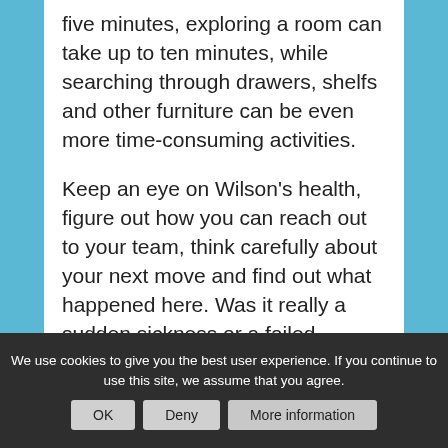five minutes, exploring a room can take up to ten minutes, while searching through drawers, shelfs and other furniture can be even more time-consuming activities.

Keep an eye on Wilson's health, figure out how you can reach out to your team, think carefully about your next move and find out what happened here. Was it really a sudden sickness or a failed experiment or something completely different? Maybe you will need more than one playthrough to find the answers you are looking for. Overall, “Signal”
We use cookies to give you the best user experience. If you continue to use this site, we assume that you agree.